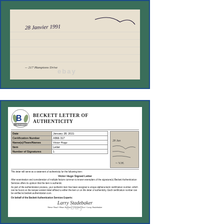[Figure (photo): A photographed handwritten/signed letter snippet displayed against a teal/green background with a blue border. Text appears to read '28 Janvier 1991' with cursive signature. eBay watermark visible.]
[Figure (photo): A Beckett Letter of Authenticity document. Contains Beckett logo at top left, title 'BECKETT LETTER OF AUTHENTICITY'. Table with fields: Date (January 28, 2021), Certification Number (A866 317), Name(s)/Team/Name (Victor Hugo), Item (Letter), Number of Signatures (1). Body text states 'This letter will serve as a statement of authenticity for the following item: Victor Hugo Signed Letter'. Includes authentication paragraphs, signature of Larry Stadebaker, and names Steve Grad, Brian Sobrero, Charlie Price, Larry Stadebaker. eBay watermark visible.]